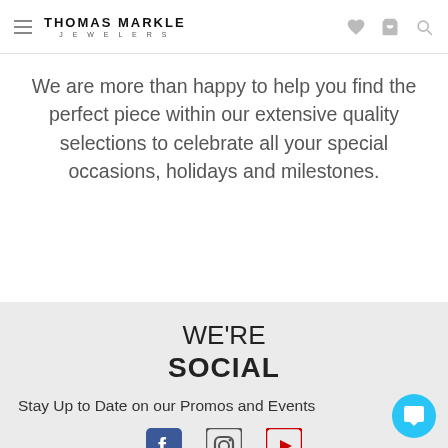THOMAS MARKLE JEWELERS
We are more than happy to help you find the perfect piece within our extensive quality selections to celebrate all your special occasions, holidays and milestones.
WE'RE SOCIAL
Stay Up to Date on our Promos and Events
[Figure (infographic): Social media icons: Facebook, Instagram, YouTube]
[Figure (infographic): Chat bubble button (cyan circle with speech bubble icon)]